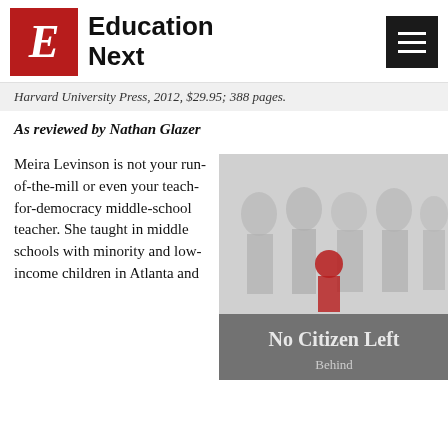Education Next
Harvard University Press, 2012, $29.95; 388 pages.
As reviewed by Nathan Glazer
Meira Levinson is not your run-of-the-mill or even your teach-for-democracy middle-school teacher. She taught in middle schools with minority and low-income children in Atlanta and
[Figure (photo): Book cover image showing sculptural figures in relief, with text 'No Citizen Left' visible at bottom on a gray background.]